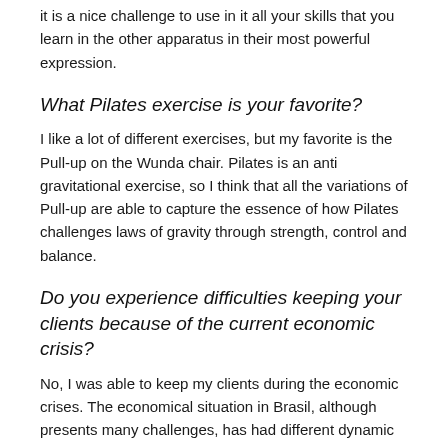it is a nice challenge to use in it all your skills that you learn in the other apparatus in their most powerful expression.
What Pilates exercise is your favorite?
I like a lot of different exercises, but my favorite is the Pull-up on the Wunda chair. Pilates is an anti gravitational exercise, so I think that all the variations of Pull-up are able to capture the essence of how Pilates challenges laws of gravity through strength, control and balance.
Do you experience difficulties keeping your clients because of the current economic crisis?
No, I was able to keep my clients during the economic crises. The economical situation in Brasil, although presents many challenges, has had different dynamic as a response to the crises. The clients I deal with have a relatively stable economical situation.